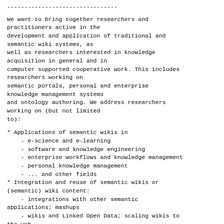--------------------------------
We want to bring together researchers and practitioners active in the development and application of traditional and semantic wiki systems, as well as researchers interested in knowledge acquisition in general and in computer supported cooperative work. This includes researchers working on semantic portals, personal and enterprise knowledge management systems and ontology authoring. We address researchers working on (but not limited to):
* Applications of semantic wikis in
    - e-science and e-learning
    - software and knowledge engineering
    - enterprise workflows and knowledge management
    - personal knowledge management
    - ... and other fields
* Integration and reuse of semantic wikis or (semantic) wiki content:
    - integrations with other semantic applications; mashups
    - wikis and Linked Open Data; scaling wikis to the web
    - giving semantics to non-semantic wikis (e.g.